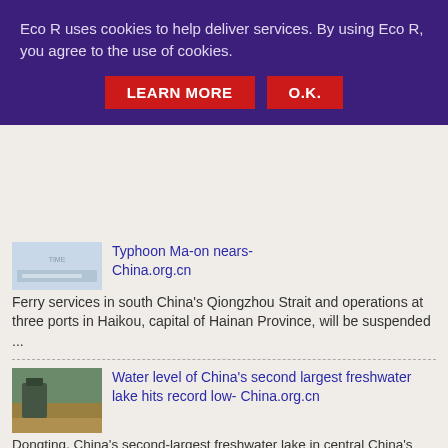Eco R uses cookies to help deliver services. By using Eco R, you agree to the use of cookies.
LEARN MORE   O.K.
[Figure (photo): Thumbnail image related to Typhoon Ma-on article]
Typhoon Ma-on nears- China.org.cn
Ferry services in south China's Qiongzhou Strait and operations at three ports in Haikou, capital of Hainan Province, will be suspended ...
[Figure (photo): Thumbnail image of dried lake bed related to Dongting Lake article]
Water level of China's second largest freshwater lake hits record low- China.org.cn
Dongting, China's second-largest freshwater lake in central China's Hunan Province, has reported record low water levels due to sust...
[Figure (photo): Thumbnail image related to nuclear accident article]
Nuclear accident narrowly avoided after power cut at plant, Zelensky claims